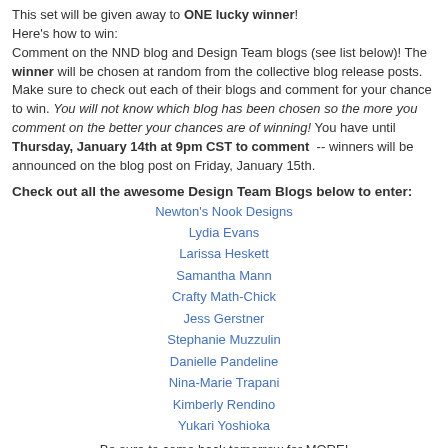This set will be given away to ONE lucky winner! Here's how to win: Comment on the NND blog and Design Team blogs (see list below)! The winner will be chosen at random from the collective blog release posts. Make sure to check out each of their blogs and comment for your chance to win. You will not know which blog has been chosen so the more you comment on the better your chances are of winning! You have until Thursday, January 14th at 9pm CST to comment  -- winners will be announced on the blog post on Friday, January 15th.
Check out all the awesome Design Team Blogs below to enter:
Newton's Nook Designs
Lydia Evans
Larissa Heskett
Samantha Mann
Crafty Math-Chick
Jess Gerstner
Stephanie Muzzulin
Danielle Pandeline
Nina-Marie Trapani
Kimberly Rendino
Yukari Yoshioka
Be sure to come back tomorrow for MORE!
~Danielle